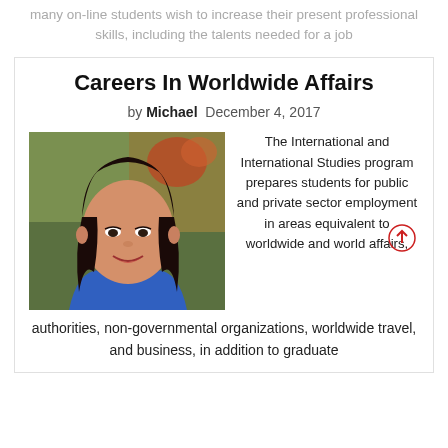many on-line students wish to increase their present professional skills, including the talents needed for a job
Careers In Worldwide Affairs
by Michael  December 4, 2017
[Figure (photo): Portrait photo of a young Asian woman smiling, with dark hair, wearing a blue top, with a blurred outdoor background.]
The International and International Studies program prepares students for public and private sector employment in areas equivalent to worldwide and world affairs,
authorities, non-governmental organizations, worldwide travel, and business, in addition to graduate